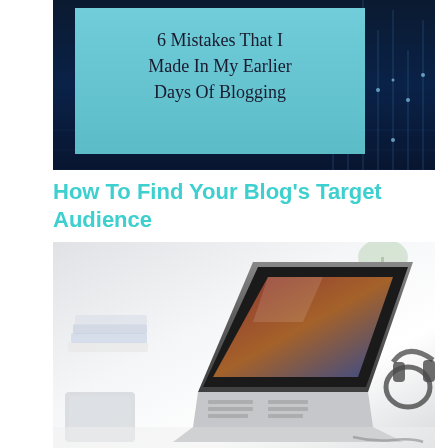[Figure (illustration): Blog post thumbnail image with dark blue tech/digital rain background and a light blue rectangle overlay containing the text '6 Mistakes That I Made In My Earlier Days Of Blogging']
How To Find Your Blog’s Target Audience
[Figure (photo): Photo of a laptop computer open on a desk, shot from an angle in a bright office setting, with a headset and books in the background]